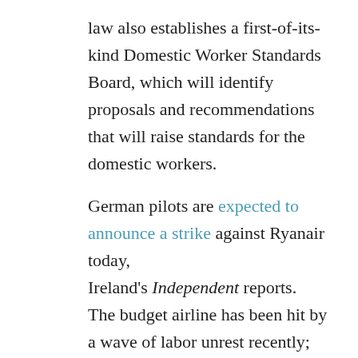law also establishes a first-of-its-kind Domestic Worker Standards Board, which will identify proposals and recommendations that will raise standards for the domestic workers.
German pilots are expected to announce a strike against Ryanair today, Ireland's Independent reports.  The budget airline has been hit by a wave of labor unrest recently; its Irish-based pilots will engage in their fourth 24-hour work stoppage this Friday.  The Friday strike is expected to cancel 20 out of Ryanair's 300 flights that day.  Additionally, six hundred flights were